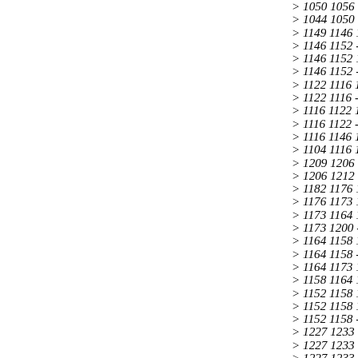> 1050 1056 -1065 1083 28 1044 1050 1056 1065
> 1044 1050 1095 1098 3 1044 1050 1095 1101 3
> 1149 1146 1152 1158 2 1146 1152 1158 1164 4
> 1146 1152 -1158 1164 5 1146 1152 -1158 1164
> 1146 1152 1158 1206 7 1146 1152 -1158 1206 8
> 1146 1152 -1158 1206 9 1131 1122 1116 1146 1
> 1122 1116 1146 1149 3 1122 1116 1146 1152 1:
> 1122 1116 -1146 1152 14 1122 1116 -1146 1152
> 1116 1122 1131 1134 3 1116 1122 1131 1137 1:
> 1116 1122 -1131 1137 14 1116 1122 -1131 1137
> 1116 1146 1152 1158 2 1104 1116 1122 1131 16
> 1104 1116 1146 1149 3 1104 1116 1146 1152 3
> 1209 1206 1212 1218 2 1206 1212 1218 1227 7
> 1206 1212 -1218 1227 8 1206 1212 -1218 1227
> 1182 1176 1173 1200 18 1182 1188 -1194 1200
> 1176 1173 1200 1194 18 1176 1182 -1188 1194
> 1173 1164 1158 1206 10 1173 1176 1182 1188 :
> 1173 1200 -1194 1188 18 1164 1158 1206 1209
> 1164 1158 1206 1212 13 1164 1158 -1206 1212
> 1164 1158 -1206 1212 15 1164 1173 1176 1182
> 1164 1173 1200 1194 18 1158 1164 1173 1176 :
> 1158 1164 1173 1200 3 1158 1206 1212 1218 2
> 1152 1158 1164 1173 10 1152 1158 1206 1209 :
> 1152 1158 1206 1212 19 1152 1158 -1206 1212
> 1152 1158 -1206 1212 21 1230 1227 1233 1239
> 1227 1233 1239 1245 4 1227 1233 -1239 1245 5
> 1227 1233 -1239 1245 6 1227 1233 1239 1257 7
> 1227 1233 -1239 1257 8 1227 1233 -1239 1257